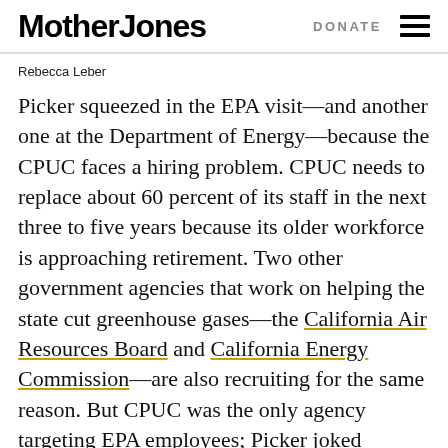Mother Jones | DONATE
Rebecca Leber
Picker squeezed in the EPA visit—and another one at the Department of Energy—because the CPUC faces a hiring problem. CPUC needs to replace about 60 percent of its staff in the next three to five years because its older workforce is approaching retirement. Two other government agencies that work on helping the state cut greenhouse gases—the California Air Resources Board and California Energy Commission—are also recruiting for the same reason. But CPUC was the only agency targeting EPA employees; Picker joked representatives from the other regulators probably